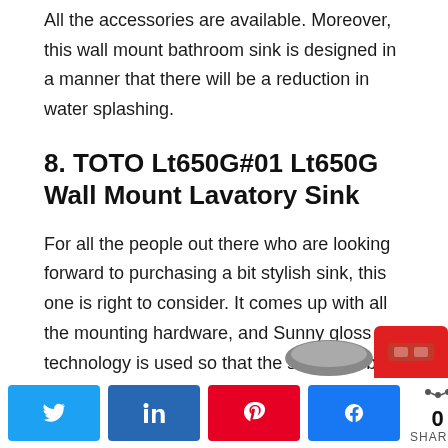All the accessories are available. Moreover, this wall mount bathroom sink is designed in a manner that there will be a reduction in water splashing.
8. TOTO Lt650G#01 Lt650G Wall Mount Lavatory Sink
For all the people out there who are looking forward to purchasing a bit stylish sink, this one is right to consider. It comes up with all the mounting hardware, and Sunny gloss technology is used so that the same will be cleaned for a longer duration. The installation is quite easy and straightforward.
[Figure (other): Partial view of a gray sink shape and a red button at the bottom right of the page, partially cropped]
Social share buttons: Twitter, LinkedIn, Pinterest, Facebook. 0 SHARES